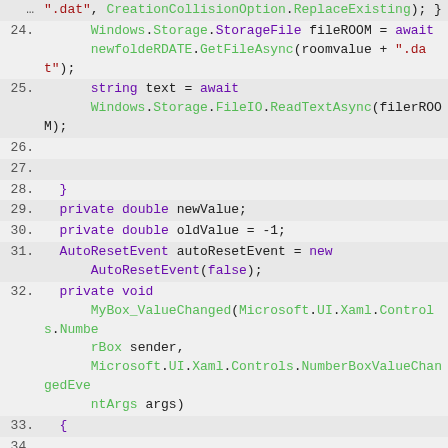[Figure (screenshot): Code editor screenshot showing C# source code lines 24-37, with syntax highlighting. Line numbers on the left, code on the right with colored keywords (purple for types/keywords, green for method names).]